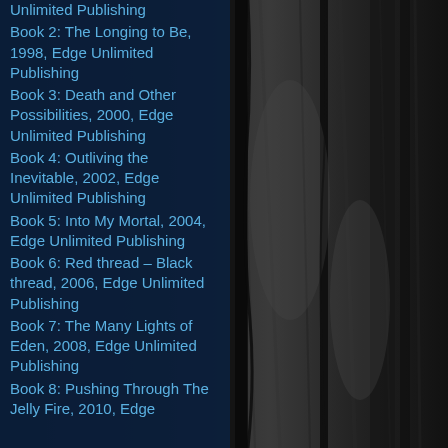[Figure (photo): Black and white close-up photo of cracked, peeling bark or stone texture forming vertical columns]
Unlimited Publishing
Book 2: The Longing to Be, 1998, Edge Unlimited Publishing
Book 3: Death and Other Possibilities, 2000, Edge Unlimited Publishing
Book 4: Outliving the Inevitable, 2002, Edge Unlimited Publishing
Book 5: Into My Mortal, 2004, Edge Unlimited Publishing
Book 6: Red thread – Black thread, 2006, Edge Unlimited Publishing
Book 7: The Many Lights of Eden, 2008, Edge Unlimited Publishing
Book 8: Pushing Through The Jelly Fire, 2010, Edge